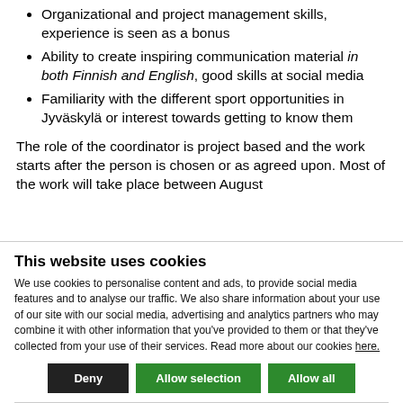Organizational and project management skills, experience is seen as a bonus
Ability to create inspiring communication material in both Finnish and English, good skills at social media
Familiarity with the different sport opportunities in Jyväskylä or interest towards getting to know them
The role of the coordinator is project based and the work starts after the person is chosen or as agreed upon. Most of the work will take place between August
This website uses cookies
We use cookies to personalise content and ads, to provide social media features and to analyse our traffic. We also share information about your use of our site with our social media, advertising and analytics partners who may combine it with other information that you've provided to them or that they've collected from your use of their services. Read more about our cookies here.
Deny | Allow selection | Allow all
Necessary (checked) | Preferences | Statistics | Marketing | Show details